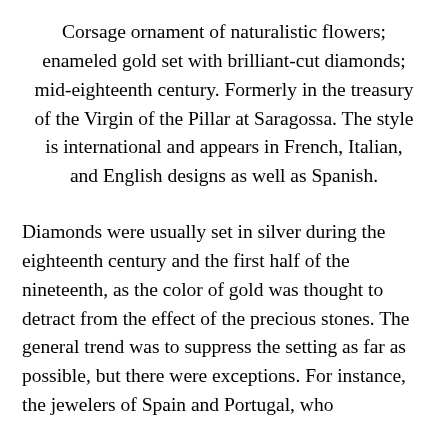Corsage ornament of naturalistic flowers; enameled gold set with brilliant-cut diamonds; mid-eighteenth century. Formerly in the treasury of the Virgin of the Pillar at Saragossa. The style is international and appears in French, Italian, and English designs as well as Spanish.
Diamonds were usually set in silver during the eighteenth century and the first half of the nineteenth, as the color of gold was thought to detract from the effect of the precious stones. The general trend was to suppress the setting as far as possible, but there were exceptions. For instance, the jewelers of Spain and Portugal, who